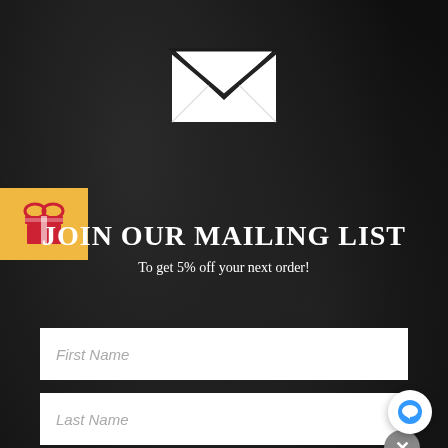[Figure (illustration): White envelope/mail icon on dark background]
[Figure (illustration): Orange/yellow gift box badge icon on left side]
JOIN OUR MAILING LIST
To get 5% off your next order!
First Name
Last Name
5% OFF
ACTIVATE DISCOUNT